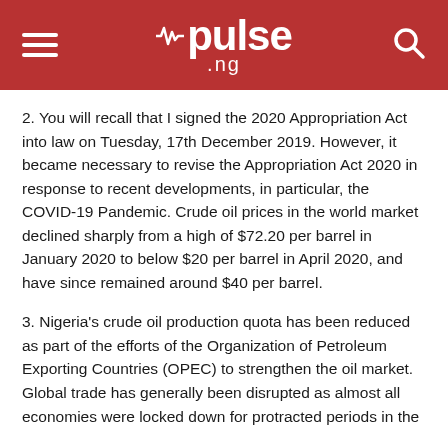pulse.ng
2. You will recall that I signed the 2020 Appropriation Act into law on Tuesday, 17th December 2019. However, it became necessary to revise the Appropriation Act 2020 in response to recent developments, in particular, the COVID-19 Pandemic. Crude oil prices in the world market declined sharply from a high of $72.20 per barrel in January 2020 to below $20 per barrel in April 2020, and have since remained around $40 per barrel.
3. Nigeria's crude oil production quota has been reduced as part of the efforts of the Organization of Petroleum Exporting Countries (OPEC) to strengthen the oil market. Global trade has generally been disrupted as almost all economies were locked down for protracted periods in the